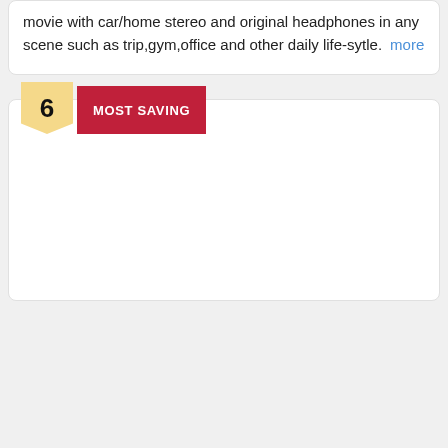movie with car/home stereo and original headphones in any scene such as trip,gym,office and other daily life-sytle.    more
6  MOST SAVING